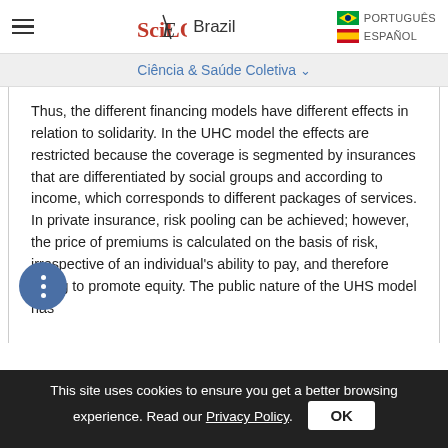SciELO Brazil — Ciência & Saúde Coletiva
Thus, the different financing models have different effects in relation to solidarity. In the UHC model the effects are restricted because the coverage is segmented by insurances that are differentiated by social groups and according to income, which corresponds to different packages of services. In private insurance, risk pooling can be achieved; however, the price of premiums is calculated on the basis of risk, irrespective of an individual's ability to pay, and therefore failing to promote equity. The public nature of the UHS model has
This site uses cookies to ensure you get a better browsing experience. Read our Privacy Policy.   OK